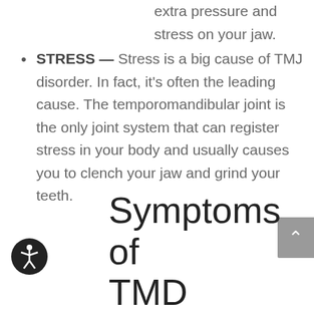extra pressure and stress on your jaw.
STRESS — Stress is a big cause of TMJ disorder. In fact, it's often the leading cause. The temporomandibular joint is the only joint system that can register stress in your body and usually causes you to clench your jaw and grind your teeth.
Symptoms of TMD